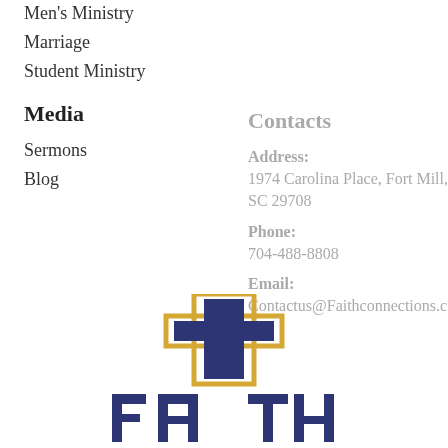Men's Ministry
Marriage
Student Ministry
Media
Sermons
Blog
Contacts
Address:
1974 Carolina Place, Fort Mill, SC 29708
Phone:
704-488-8808
Email:
Contactus@Faithconnections.c
[Figure (logo): Faith Connections church logo with a cross shape and the word FAITH in dark navy blue letters with a gold cross outline overlay]